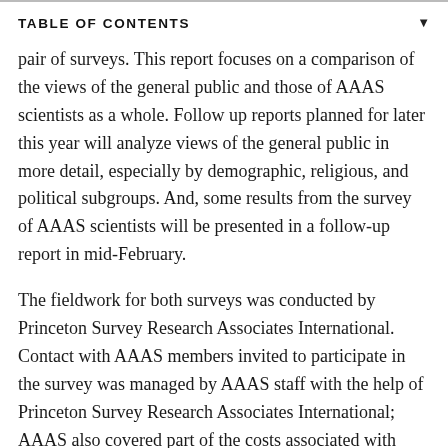TABLE OF CONTENTS
pair of surveys. This report focuses on a comparison of the views of the general public and those of AAAS scientists as a whole. Follow up reports planned for later this year will analyze views of the general public in more detail, especially by demographic, religious, and political subgroups. And, some results from the survey of AAAS scientists will be presented in a follow-up report in mid-February.
The fieldwork for both surveys was conducted by Princeton Survey Research Associates International. Contact with AAAS members invited to participate in the survey was managed by AAAS staff with the help of Princeton Survey Research Associates International; AAAS also covered part of the costs associated with mailing members. All other costs of conducting the pair of surveys were covered by the Pew Research Center. Pew Research bears all responsibility for the content, design and